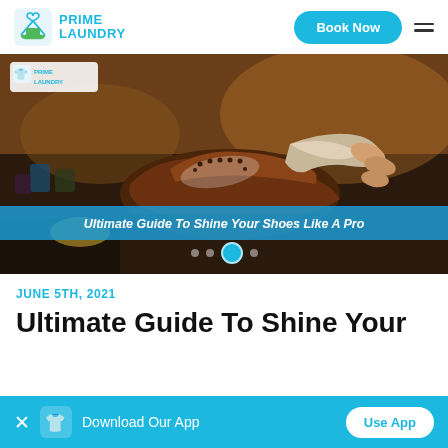[Figure (logo): Prime Laundry logo with hanger/shirt icon and text PRIME LAUNDRY in cyan]
[Figure (photo): Photo of a person polishing a brown leather brogue shoe with a cloth in a cobbler workshop setting. Overlay text: Ultimate Guide To Shine Your Shoes Like A Pro]
Ultimate Guide To Shine Your Shoes Like A Pro
JUNE 5TH, 2021
Ultimate Guide To Shine Your
Download Our App
Use App